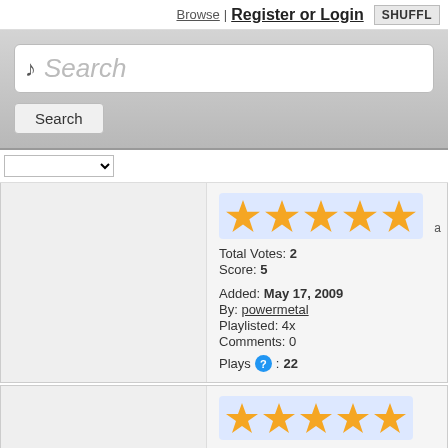Browse | Register or Login  SHUFFLE
[Figure (screenshot): Search box with music note icon and placeholder text 'Search', plus a Search button below it, on a grey gradient background]
[Figure (screenshot): Dropdown filter select box]
Total Votes: 2
Score: 5
Added: May 17, 2009
By: powermetal
Playlisted: 4x
Comments: 0
Plays: 22
Total Votes: 2
Score: 5
Added: May 18, 2009
By: powermetal
Playlisted: 3x